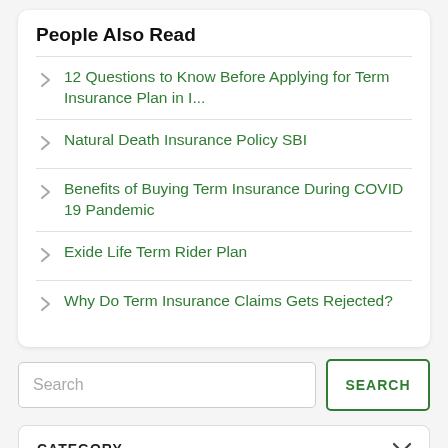People Also Read
12 Questions to Know Before Applying for Term Insurance Plan in I...
Natural Death Insurance Policy SBI
Benefits of Buying Term Insurance During COVID 19 Pandemic
Exide Life Term Rider Plan
Why Do Term Insurance Claims Gets Rejected?
Search
SEARCH
CATEGORY